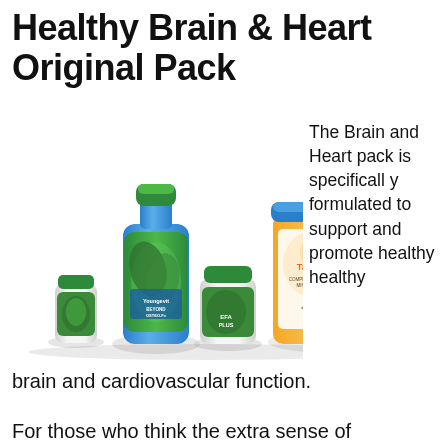Healthy Brain & Heart Original Pack
[Figure (photo): Product photo showing Youngevity Beyond Osteo-fx liquid bottle, EFA Plus supplement jar, Beyond Tangy Tangerine Complete Multi-Vitamin Mineral Complex container, EFA supplement bottle, and smaller supplement bottles arranged together]
The Brain and Heart pack is specifically formulated to support and promote healthy healthy
brain and cardiovascular function.
For those who think the extra sense of freshness